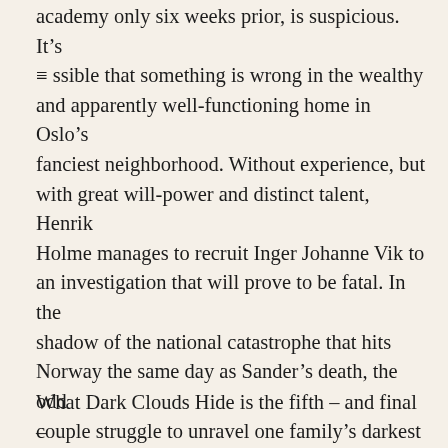academy only six weeks prior, is suspicious. It's ssible that something is wrong in the wealthy and apparently well-functioning home in Oslo's fanciest neighborhood. Without experience, but with great will-power and distinct talent, Henrik Holme manages to recruit Inger Johanne Vik to an investigation that will prove to be fatal. In the shadow of the national catastrophe that hits Norway the same day as Sander's death, the odd couple struggle to unravel one family's darkest secrets. The hunt for the truth about the eight-year-old's death becomes a brutal confrontation with prejudice and evasions, shame and lies, system failures and human humiliation.
What Dark Clouds Hide is the fifth – and final –